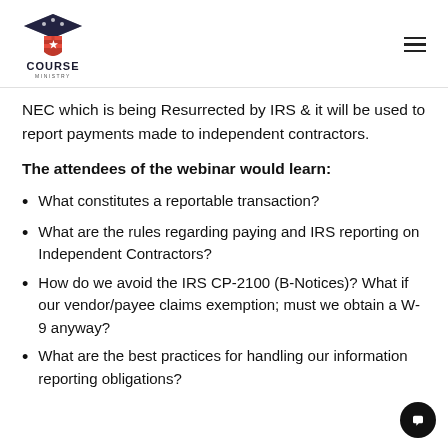Course Ministry
NEC which is being Resurrected by IRS & it will be used to report payments made to independent contractors.
The attendees of the webinar would learn:
What constitutes a reportable transaction?
What are the rules regarding paying and IRS reporting on Independent Contractors?
How do we avoid the IRS CP-2100 (B-Notices)? What if our vendor/payee claims exemption; must we obtain a W-9 anyway?
What are the best practices for handling our information reporting obligations?